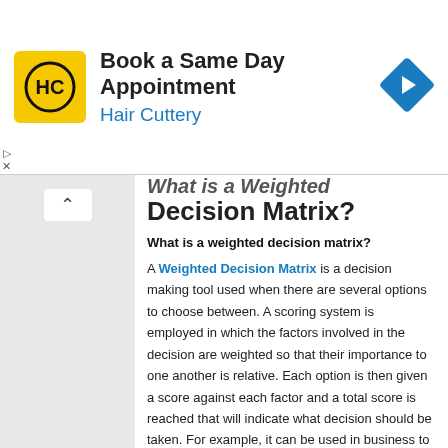[Figure (infographic): Hair Cuttery advertisement banner: yellow square logo with HC letters, text 'Book a Same Day Appointment / Hair Cuttery' in black and blue, blue diamond arrow icon on the right. Play and X controls at bottom left.]
What is a Weighted Decision Matrix?
What is a weighted decision matrix?
A Weighted Decision Matrix is a decision making tool used when there are several options to choose between. A scoring system is employed in which the factors involved in the decision are weighted so that their importance to one another is relative. Each option is then given a score against each factor and a total score is reached that will indicate what decision should be taken. For example, it can be used in business to decide between different software solutions or at home to help a family decide where to go on holiday.